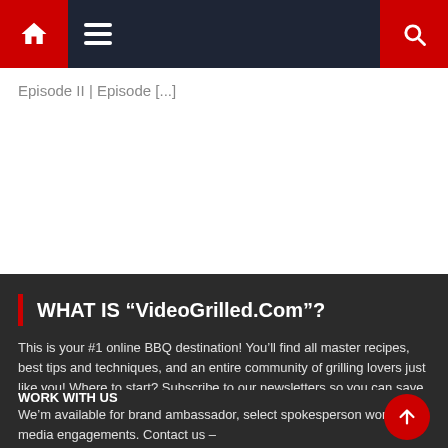Navigation bar with home icon, menu icon, and search icon
Episode II | Episode [...]
WHAT IS “VideoGrilled.Com”?
This is your #1 online BBQ destination! You’ll find all master recipes, best tips and techniques, and an entire community of grilling lovers just like you! Where to start? Subscribe to our newsletters so you can save recipes, get exclusive notifications and more, and let’s get baking!
WORK WITH US
We’m available for brand ambassador, select spokesperson work and media engagements. Contact us –